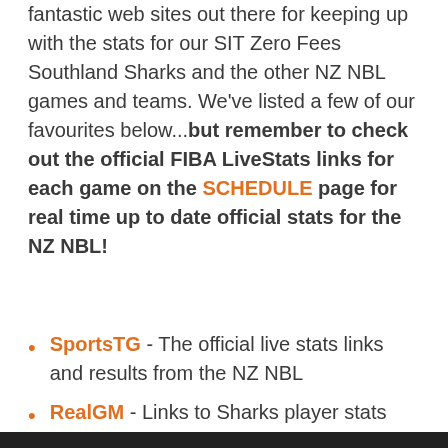fantastic web sites out there for keeping up with the stats for our SIT Zero Fees Southland Sharks and the other NZ NBL games and teams. We've listed a few of our favourites below...but remember to check out the official FIBA LiveStats links for each game on the SCHEDULE page for real time up to date official stats for the NZ NBL!
SportsTG - The official live stats links and results from the NZ NBL
RealGM - Links to Sharks player stats
FlashScore.com - Good overview of current and past results for the Sharks in the NBL